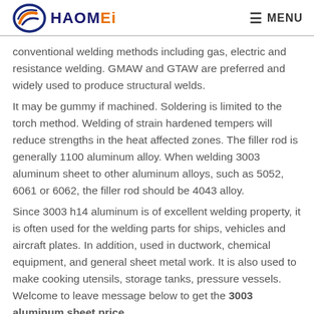HAOMEi MENU
conventional welding methods including gas, electric and resistance welding. GMAW and GTAW are preferred and widely used to produce structural welds.
It may be gummy if machined. Soldering is limited to the torch method. Welding of strain hardened tempers will reduce strengths in the heat affected zones. The filler rod is generally 1100 aluminum alloy. When welding 3003 aluminum sheet to other aluminum alloys, such as 5052, 6061 or 6062, the filler rod should be 4043 alloy.
Since 3003 h14 aluminum is of excellent welding property, it is often used for the welding parts for ships, vehicles and aircraft plates. In addition, used in ductwork, chemical equipment, and general sheet metal work. It is also used to make cooking utensils, storage tanks, pressure vessels. Welcome to leave message below to get the 3003 aluminum sheet price.